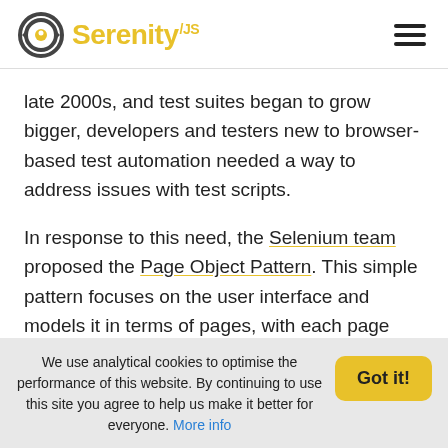Serenity /JS
late 2000s, and test suites began to grow bigger, developers and testers new to browser-based test automation needed a way to address issues with test scripts.
In response to this need, the Selenium team proposed the Page Object Pattern. This simple pattern focuses on the user interface and models it in terms of pages, with each page being represented
We use analytical cookies to optimise the performance of this website. By continuing to use this site you agree to help us make it better for everyone. More info